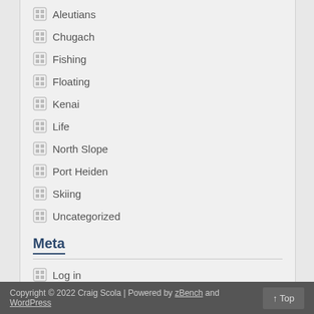Aleutians
Chugach
Fishing
Floating
Kenai
Life
North Slope
Port Heiden
Skiing
Uncategorized
Meta
Log in
Entries feed
Comments feed
WordPress.org
Copyright © 2022 Craig Scola | Powered by zBench and WordPress